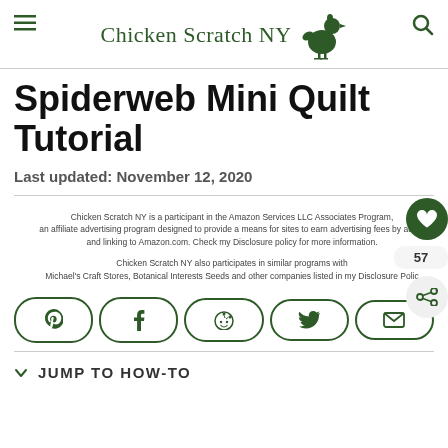Chicken Scratch NY
Spiderweb Mini Quilt Tutorial
Last updated: November 12, 2020
Chicken Scratch NY is a participant in the Amazon Services LLC Associates Program, an affiliate advertising program designed to provide a means for sites to earn advertising fees by advertising and linking to Amazon.com. Check my Disclosure policy for more information. Chicken Scratch NY also participates in similar programs with Michael's Craft Stores, Botanical Interests Seeds and other companies listed in my Disclosure Policy
[Figure (infographic): Social share buttons row: Pinterest, Facebook, Reddit, Twitter, Email — each in a rounded rectangle border with dark green outline]
JUMP TO HOW-TO